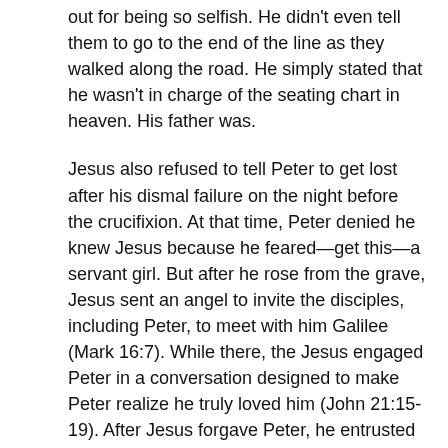out for being so selfish. He didn't even tell them to go to the end of the line as they walked along the road. He simply stated that he wasn't in charge of the seating chart in heaven. His father was.
Jesus also refused to tell Peter to get lost after his dismal failure on the night before the crucifixion. At that time, Peter denied he knew Jesus because he feared—get this—a servant girl. But after he rose from the grave, Jesus sent an angel to invite the disciples, including Peter, to meet with him Galilee (Mark 16:7). While there, the Jesus engaged Peter in a conversation designed to make Peter realize he truly loved him (John 21:15-19). After Jesus forgave Peter, he entrusted him with the task of caring for Jesus' followers. Peter rose to the challenge, as we see throughout the first half of the book of Acts.
Take God at His Word